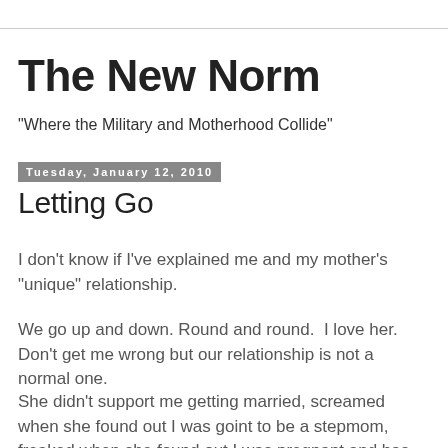The New Norm
"Where the Military and Motherhood Collide"
Tuesday, January 12, 2010
Letting Go
I don't know if I've explained me and my mother's "unique" relationship.
We go up and down. Round and round.  I love her. Don't get me wrong but our relationship is not a normal one.
She didn't support me getting married, screamed when she found out I was goint to be a stepmom, freaked when she found out I was pregnant and has been comparing me to my